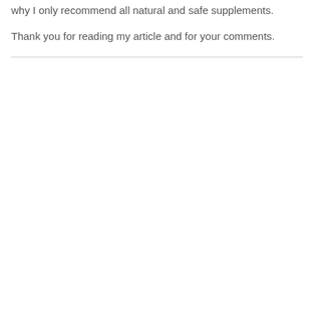why I only recommend all natural and safe supplements.
Thank you for reading my article and for your comments.